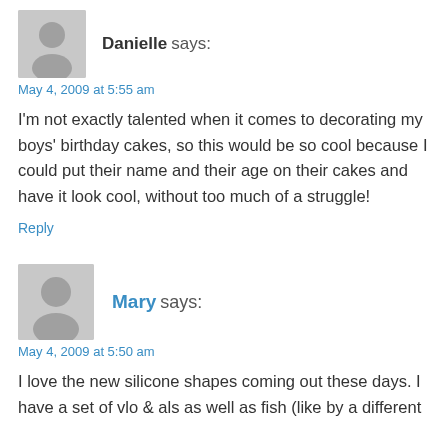Danielle says:
May 4, 2009 at 5:55 am
I'm not exactly talented when it comes to decorating my boys' birthday cakes, so this would be so cool because I could put their name and their age on their cakes and have it look cool, without too much of a struggle!
Reply
Mary says:
May 4, 2009 at 5:50 am
I love the new silicone shapes coming out these days. I have a set of vlo & als as well as fish (like by a different